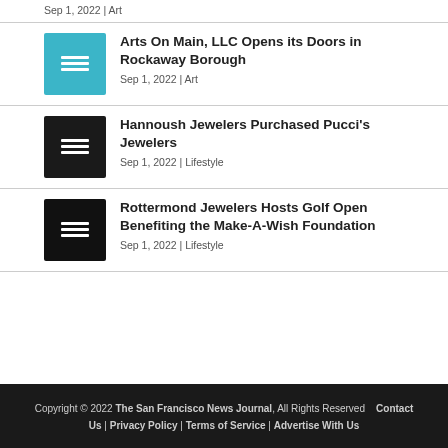Sep 1, 2022 | Art
Arts On Main, LLC Opens its Doors in Rockaway Borough — Sep 1, 2022 | Art
Hannoush Jewelers Purchased Pucci's Jewelers — Sep 1, 2022 | Lifestyle
Rottermond Jewelers Hosts Golf Open Benefiting the Make-A-Wish Foundation — Sep 1, 2022 | Lifestyle
Copyright © 2022 The San Francisco News Journal, All Rights Reserved   Contact Us | Privacy Policy | Terms of Service | Advertise With Us